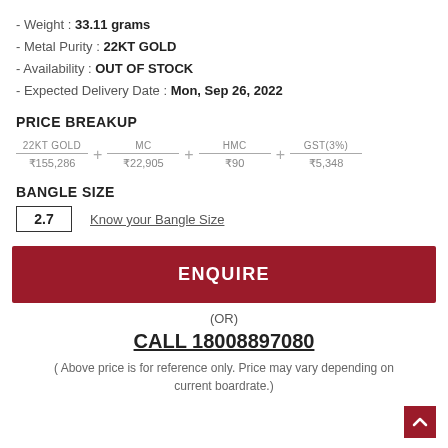- Weight : 33.11 grams
- Metal Purity : 22KT GOLD
- Availability : OUT OF STOCK
- Expected Delivery Date : Mon, Sep 26, 2022
PRICE BREAKUP
| 22KT GOLD | MC | HMC | GST(3%) |
| --- | --- | --- | --- |
| ₹155,286 | ₹22,905 | ₹90 | ₹5,348 |
BANGLE SIZE
2.7   Know your Bangle Size
ENQUIRE
(OR)
CALL 18008897080
( Above price is for reference only. Price may vary depending on current boardrate.)